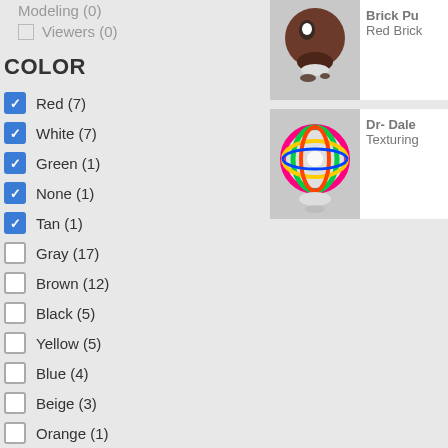Modeling (0)
Viewers (0)
COLOR
Red (7) [checked]
White (7) [checked]
Green (1) [checked]
None (1) [checked]
Tan (1) [checked]
Gray (17) [unchecked]
Brown (12) [unchecked]
Black (5) [unchecked]
Yellow (5) [unchecked]
Blue (4) [unchecked]
Beige (3) [unchecked]
Orange (1) [unchecked]
[Figure (photo): 3D rendered brown character figurine on a white stand]
Brick Pu
Red Brick
[Figure (photo): 3D rendered colorful patterned ball figurine on a white stand]
Dr- Dale
Texturing
[Figure (illustration): Green grass silhouette graphic above gray footer]
Follow us on